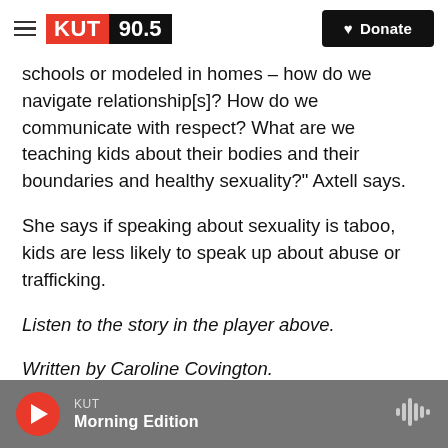KUT 90.5 — Donate
schools or modeled in homes – how do we navigate relationship[s]? How do we communicate with respect? What are we teaching kids about their bodies and their boundaries and healthy sexuality?" Axtell says.
She says if speaking about sexuality is taboo, kids are less likely to speak up about abuse or trafficking.
Listen to the story in the player above.
Written by Caroline Covington.
KUT Morning Edition